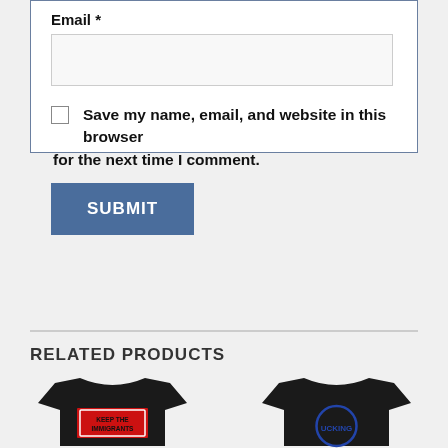Email *
[Figure (screenshot): Empty email input text field]
Save my name, email, and website in this browser for the next time I comment.
[Figure (screenshot): SUBMIT button in dark blue/steel color]
RELATED PRODUCTS
[Figure (photo): Black long-sleeve t-shirt with red rectangle graphic reading KEEP THE IMMIGRANTS]
[Figure (photo): Black t-shirt with circular graphic containing text UCKING]